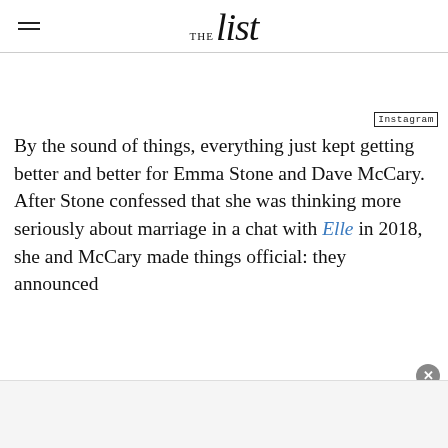THE list
Instagram
By the sound of things, everything just kept getting better and better for Emma Stone and Dave McCary. After Stone confessed that she was thinking more seriously about marriage in a chat with Elle in 2018, she and McCary made things official: they announced